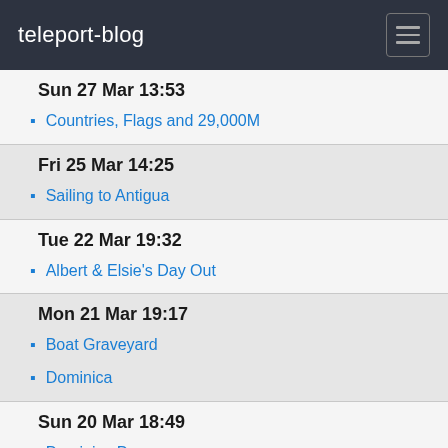teleport-blog
Sun 27 Mar 13:53
Countries, Flags and 29,000M
Fri 25 Mar 14:25
Sailing to Antigua
Tue 22 Mar 19:32
Albert & Elsie's Day Out
Mon 21 Mar 19:17
Boat Graveyard
Dominica
Sun 20 Mar 18:49
Dominica Days
Thu 17 Mar 16:14
Arrival Portsmouth
Leaving St Lucia
Fri 11 Mar 15:36
Horrific news from St Maarten